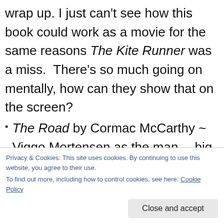wrap up. I just can't see how this book could work as a movie for the same reasons The Kite Runner was a miss.  There's so much going on mentally, how can they show that on the screen?
The Road by Cormac McCarthy ~ Viggo Mortensen as the man… big, big plus.  It could really be another Mad Max or Blade Runner and be a raging success, but it could just as easily tank hard.  It's another one of those mental books, though the scenery could be amazing.  They HAVE to have the cellar scene in it, though, or it'll be a deal breaker.
Privacy & Cookies: This site uses cookies. By continuing to use this website, you agree to their use.
To find out more, including how to control cookies, see here: Cookie Policy